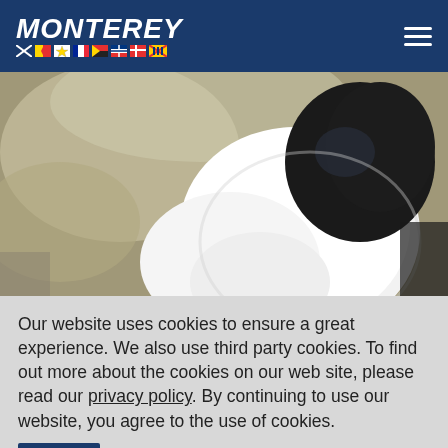MONTEREY
[Figure (photo): Close-up photo of a black and white bird (likely a bufflehead or similar diving duck) viewed from behind, showing its round white body and black head with iridescent green/purple sheen. Background is blurred beige/tan colors suggesting outdoor nature setting.]
We may not love low winter temperatures—especially when it keeps us from enjoying the great outdoors! But for our animal neighbors
Our website uses cookies to ensure a great experience. We also use third party cookies. To find out more about the cookies on our web site, please read our privacy policy. By continuing to use our website, you agree to the use of cookies.
Accept